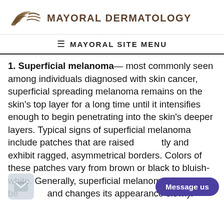MAYORAL DERMATOLOGY
≡  MAYORAL SITE MENU
1. Superficial melanoma— most commonly seen among individuals diagnosed with skin cancer, superficial spreading melanoma remains on the skin's top layer for a long time until it intensifies enough to begin penetrating into the skin's deeper layers. Typical signs of superficial melanoma include patches that are raised slightly and exhibit ragged, asymmetrical borders. Colors of these patches vary from brown or black to bluish-white. Generally, superficial melanoma starts as a benign and changes its appearance slowly.